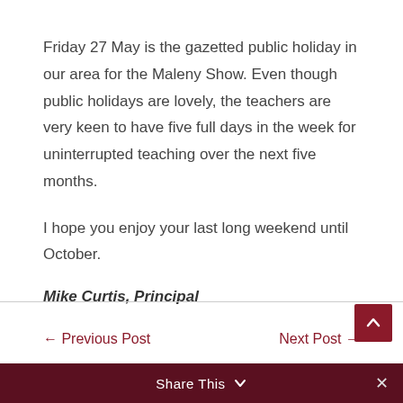Friday 27 May is the gazetted public holiday in our area for the Maleny Show. Even though public holidays are lovely, the teachers are very keen to have five full days in the week for uninterrupted teaching over the next five months.
I hope you enjoy your last long weekend until October.
Mike Curtis, Principal
← Previous Post    Next Post →
Share This  ∨    ✕